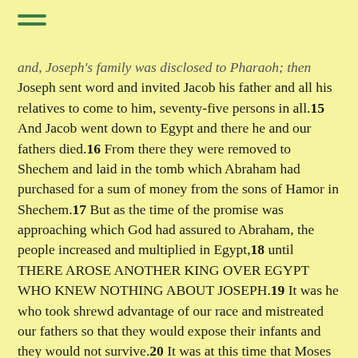[Figure (other): Hamburger menu icon with three horizontal green lines]
and, Joseph's family was disclosed to Pharaoh; then Joseph sent word and invited Jacob his father and all his relatives to come to him, seventy-five persons in all.15 And Jacob went down to Egypt and there he and our fathers died.16 From there they were removed to Shechem and laid in the tomb which Abraham had purchased for a sum of money from the sons of Hamor in Shechem.17 But as the time of the promise was approaching which God had assured to Abraham, the people increased and multiplied in Egypt,18 until THERE AROSE ANOTHER KING OVER EGYPT WHO KNEW NOTHING ABOUT JOSEPH.19 It was he who took shrewd advantage of our race and mistreated our fathers so that they would expose their infants and they would not survive.20 It was at this time that Moses was born; and he was lovely in the sight of God, and he was nurtured three months in his fathers home.21 And after he had been set outside, Pharaohs daughter took him away and nurtured him as her own son.22 Moses was educated in all the learning of the Egyptians, and he was a man of power in words and deeds.23 But when he was approaching